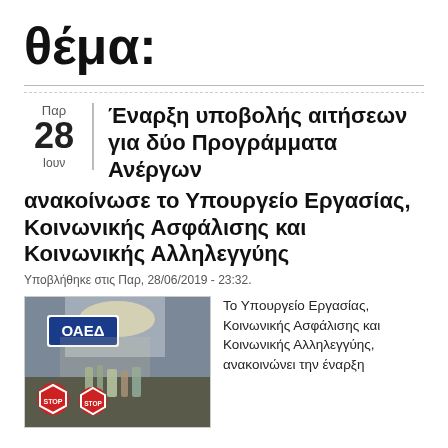θέμα:
Έναρξη υποβολής αιτήσεων για δύο Προγράμματα Ανέργων ανακοίνωσε το Υπουργείο Εργασίας, Κοινωνικής Ασφάλισης και Κοινωνικής Αλληλεγγύης
Υποβλήθηκε στις Παρ, 28/06/2019 - 23:32.
[Figure (photo): Photo of OAED (Greek Employment Agency) office interior with OAED sign and stop signs visible]
Το Υπουργείο Εργασίας, Κοινωνικής Ασφάλισης και Κοινωνικής Αλληλεγγύης, ανακοινώνει την έναρξη θέλουν να